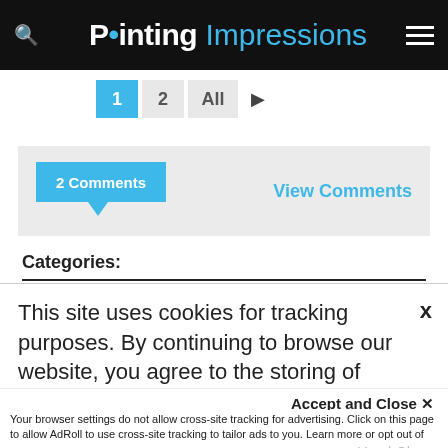Printing Impressions
1  2  All ▶
2 Comments   View Comments
Categories:
This site uses cookies for tracking purposes. By continuing to browse our website, you agree to the storing of first- and third-party cookies on your device to enhance site navigation, analyze site usage, and assist in our marketing and
Accept and Close ✕
Your browser settings do not allow cross-site tracking for advertising. Click on this page to allow AdRoll to use cross-site tracking to tailor ads to you. Learn more or opt out of this AdRoll tracking by clicking here. This message only appears once.